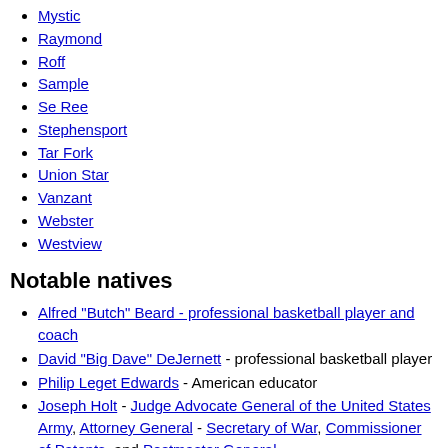Mystic
Raymond
Roff
Sample
Se Ree
Stephensport
Tar Fork
Union Star
Vanzant
Webster
Westview
Notable natives
Alfred "Butch" Beard - professional basketball player and coach
David "Big Dave" DeJernett - professional basketball player
Philip Leget Edwards - American educator
Joseph Holt - Judge Advocate General of the United States Army, Attorney General - Secretary of War, Commissioner of Patents, and Postmaster General.
Bobbi Jordan - American actress
John Alexander McClernand - Union General during the American Civil War